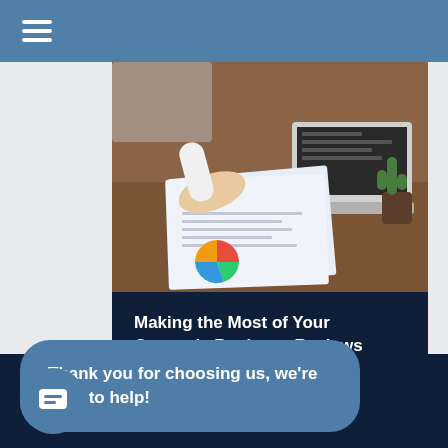[Figure (photo): Business person reviewing financial documents and charts on a desk with a laptop and a small cactus plant]
Making the Most of Your Quarterly Business Reviews
Read More
Thank you for choosing us, we're here to help!